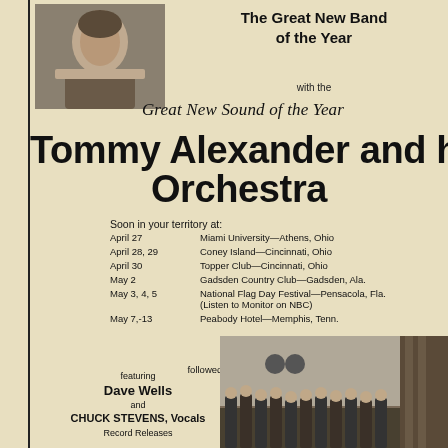[Figure (photo): Portrait photo of a man (presumably Tommy Alexander) in top-left corner]
The Great New Band of the Year
with the
Great New Sound of the Year
Tommy Alexander and his Orchestra
Soon in your territory at:
April 27 — Miami University—Athens, Ohio
April 28, 29 — Coney Island—Cincinnati, Ohio
April 30 — Topper Club—Cincinnati, Ohio
May 2 — Gadsden Country Club—Gadsden, Ala.
May 3, 4, 5 — National Flag Day Festival—Pensacola, Fla. (Listen to Monitor on NBC)
May 7,-13 — Peabody Hotel—Memphis, Tenn.
followed by a one-nite tour and back to the Palladium in Hollywood
featuring Dave Wells and CHUCK STEVENS, Vocals
Record Releases
[Figure (photo): Band photo showing Tommy Alexander and his Orchestra on stage]